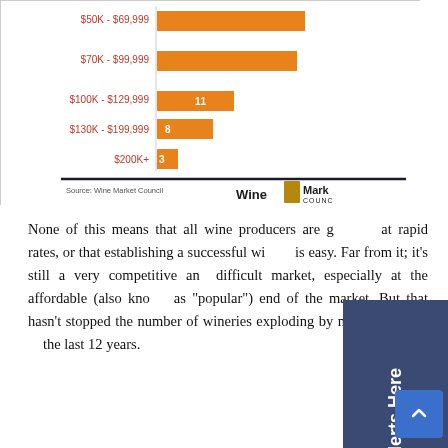[Figure (bar-chart): Income Distribution (partial)]
Source: Wine Market Council
None of this means that all wine producers are growing at rapid rates, or that establishing a successful winery is easy. Far from it; it's still a very competitive and difficult market, especially at the affordable (also known as "popular") end of the market. But that hasn't stopped the number of wineries exploding by more than 80% in the last 12 years.